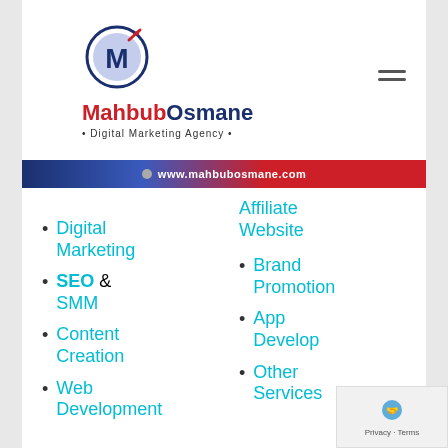[Figure (logo): MahbubOsmane Digital Marketing Agency logo with circular M icon and upward arrow]
www.mahbubosmane.com
Digital Marketing
SEO & SMM
Content Creation
Web Development
Affiliate Website
Brand Promotion
App Develop
Other Services